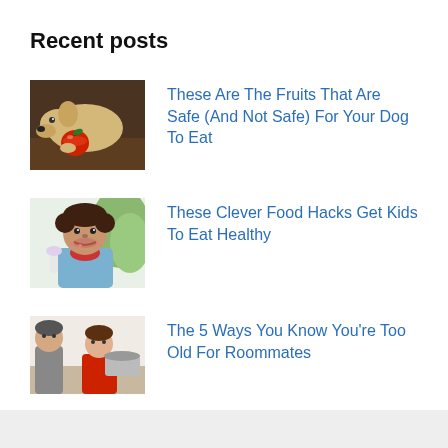Recent posts
[Figure (photo): A yellow Labrador puppy with its nose near a red apple on a dark brown surface]
These Are The Fruits That Are Safe (And Not Safe) For Your Dog To Eat
[Figure (photo): A young child with curly hair eating, with food around their mouth, wearing a light blue shirt]
These Clever Food Hacks Get Kids To Eat Healthy
[Figure (photo): Two adults (or a person and child) in a kitchen setting]
The 5 Ways You Know You're Too Old For Roommates